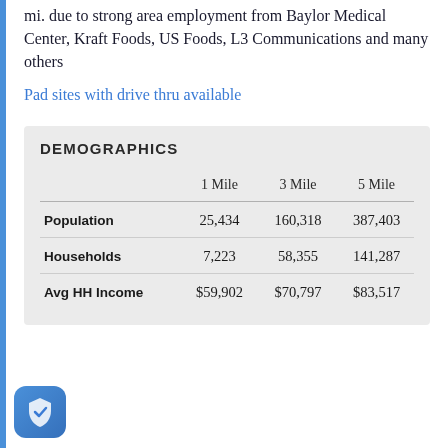mi. due to strong area employment from Baylor Medical Center, Kraft Foods, US Foods, L3 Communications and many others
Pad sites with drive thru available
DEMOGRAPHICS
|  | 1 Mile | 3 Mile | 5 Mile |
| --- | --- | --- | --- |
| Population | 25,434 | 160,318 | 387,403 |
| Households | 7,223 | 58,355 | 141,287 |
| Avg HH Income | $59,902 | $70,797 | $83,517 |